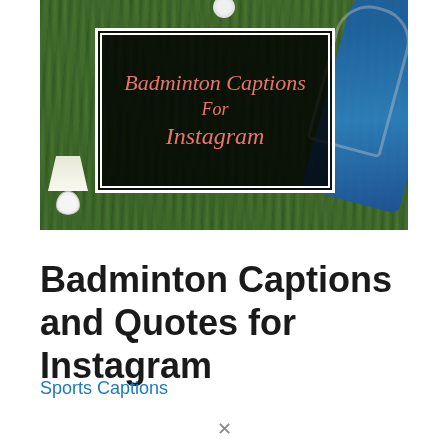[Figure (photo): Photo of badminton rackets and shuttlecocks on green grass with a dark overlay box containing script text reading 'Badminton Captions For Instagram']
Badminton Captions and Quotes for Instagram
Sports Captions